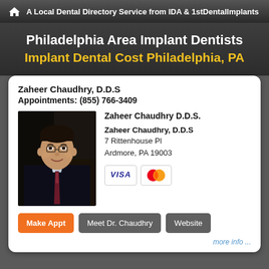A Local Dental Directory Service from IDA & 1stDentalImplants
Philadelphia Area Implant Dentists
Implant Dental Cost Philadelphia, PA
Zaheer Chaudhry, D.D.S
Appointments: (855) 766-3409
[Figure (photo): Portrait photo of Dr. Zaheer Chaudhry in a suit and tie]
Zaheer Chaudhry D.D.S.
Zaheer Chaudhry, D.D.S
7 Rittenhouse Pl
Ardmore, PA 19003
Make Appt   Meet Dr. Chaudhry   Website
more info ...